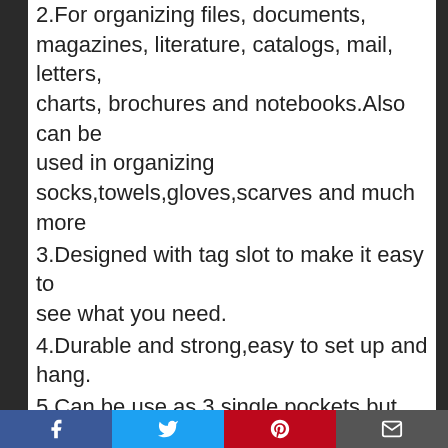2.For organizing files, documents, magazines, literature, catalogs, mail, letters, charts, brochures and notebooks.Also can be used in organizing socks,towels,gloves,scarves and much more
3.Designed with tag slot to make it easy to see what you need.
4.Durable and strong,easy to set up and hang.
5.Can be use as 3 single pockets,but also be superimposed in using.
Package Include:
3 X Wall file rack body
3 X Screws and anchors